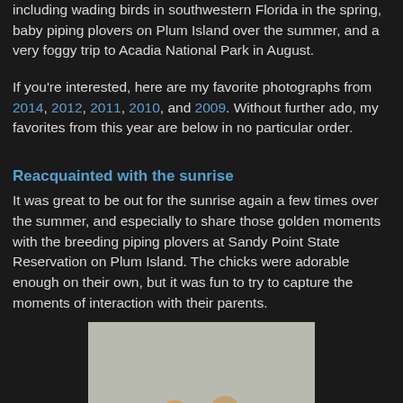including wading birds in southwestern Florida in the spring, baby piping plovers on Plum Island over the summer, and a very foggy trip to Acadia National Park in August.
If you're interested, here are my favorite photographs from 2014, 2012, 2011, 2010, and 2009. Without further ado, my favorites from this year are below in no particular order.
Reacquainted with the sunrise
It was great to be out for the sunrise again a few times over the summer, and especially to share those golden moments with the breeding piping plovers at Sandy Point State Reservation on Plum Island. The chicks were adorable enough on their own, but it was fun to try to capture the moments of interaction with their parents.
[Figure (photo): Two baby piping plover chicks on sandy ground, photographed against a light gray background]